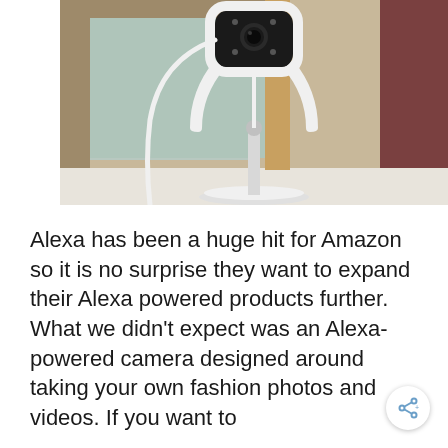[Figure (photo): A white smart home camera with a black sensor/lens panel, on a white stand/base, placed on a white surface in front of a wooden-framed window and a brown curtain in the background.]
Alexa has been a huge hit for Amazon so it is no surprise they want to expand their Alexa powered products further. What we didn't expect was an Alexa-powered camera designed around taking your own fashion photos and videos. If you want to